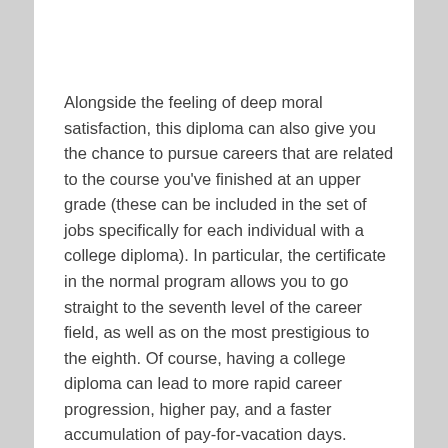Alongside the feeling of deep moral satisfaction, this diploma can also give you the chance to pursue careers that are related to the course you've finished at an upper grade (these can be included in the set of jobs specifically for each individual with a college diploma). In particular, the certificate in the normal program allows you to go straight to the seventh level of the career field, as well as on the most prestigious to the eighth. Of course, having a college diploma can lead to more rapid career progression, higher pay, and a faster accumulation of pay-for-vacation days. Additionally, when employed, the person is eligible for a lucrative bonus in the form